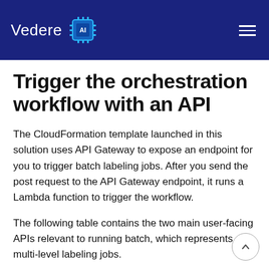[Figure (logo): Vedere AI logo — white text 'Vedere' with stylized AI chip icon in blue/cyan, on dark navy background header with hamburger menu icon top right]
Trigger the orchestration workflow with an API
The CloudFormation template launched in this solution uses API Gateway to expose an endpoint for you to trigger batch labeling jobs. After you send the post request to the API Gateway endpoint, it runs a Lambda function to trigger the workflow.
The following table contains the two main user-facing APIs relevant to running batch, which represents multi-level labeling jobs.